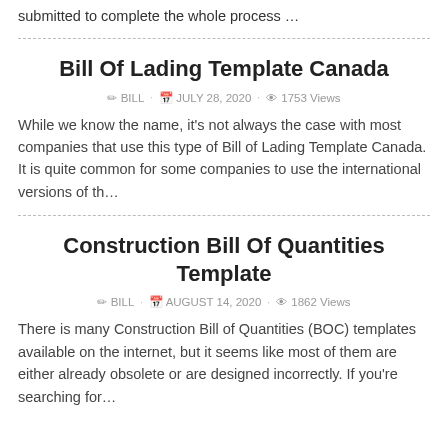submitted to complete the whole process …
Bill Of Lading Template Canada
✎ BILL · 📅 JULY 28, 2020 · 👁 1753 Views
While we know the name, it's not always the case with most companies that use this type of Bill of Lading Template Canada. It is quite common for some companies to use the international versions of th…
Construction Bill Of Quantities Template
✎ BILL · 📅 AUGUST 14, 2020 · 👁 1862 Views
There is many Construction Bill of Quantities (BOC) templates available on the internet, but it seems like most of them are either already obsolete or are designed incorrectly. If you're searching for…